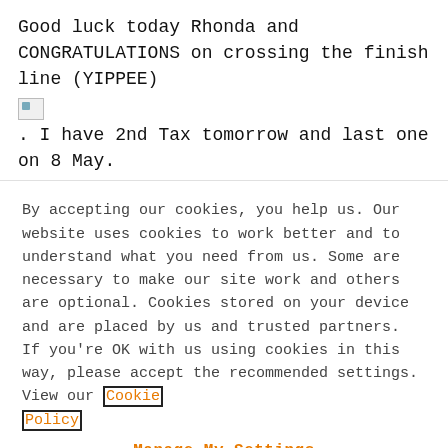Good luck today Rhonda and CONGRATULATIONS on crossing the finish line (YIPPEE)
[Figure (illustration): Broken image placeholder icon (small, top-left area)]
. I have 2nd Tax tomorrow and last one on 8 May.
By accepting our cookies, you help us. Our website uses cookies to work better and to understand what you need from us. Some are necessary to make our site work and others are optional. Cookies stored on your device and are placed by us and trusted partners. If you're OK with us using cookies in this way, please accept the recommended settings. View our Cookie Policy
Manage My Settings
Reject All
Accept All Cookies